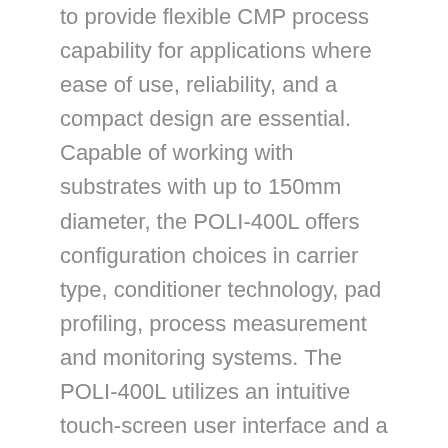to provide flexible CMP process capability for applications where ease of use, reliability, and a compact design are essential. Capable of working with substrates with up to 150mm diameter, the POLI-400L offers configuration choices in carrier type, conditioner technology, pad profiling, process measurement and monitoring systems. The POLI-400L utilizes an intuitive touch-screen user interface and a robust PLC control system that includes the multiple process steps and detailed process controls that users expect. Reliability and flexibility is further enhanced by relying on manual single substrate loading. The G&P Technology POLI-400L delivers high-value performance and research capability in a package that is compact and economical.